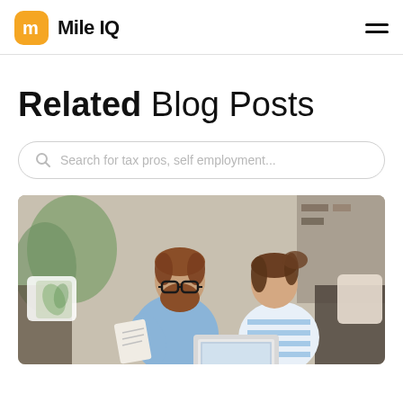MileIQ
Related Blog Posts
Search for tax pros, self employment...
[Figure (photo): A bearded man wearing glasses and a light blue shirt holds a document, sitting next to a woman in a striped top, both looking at a laptop in a home setting with decorative pillows in the background.]